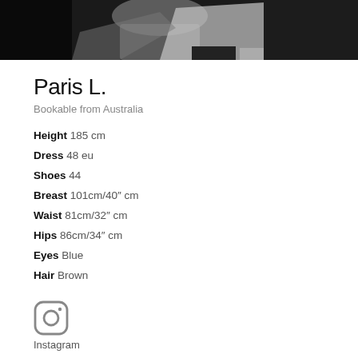[Figure (photo): Black and white photo of a male model, partial body view showing torso/arm area, dark background]
Paris L.
Bookable from Australia
Height 185 cm
Dress 48 eu
Shoes 44
Breast 101cm/40" cm
Waist 81cm/32" cm
Hips 86cm/34" cm
Eyes Blue
Hair Brown
[Figure (logo): Instagram icon (rounded square with circle and dot)]
Instagram
Level Portfolio